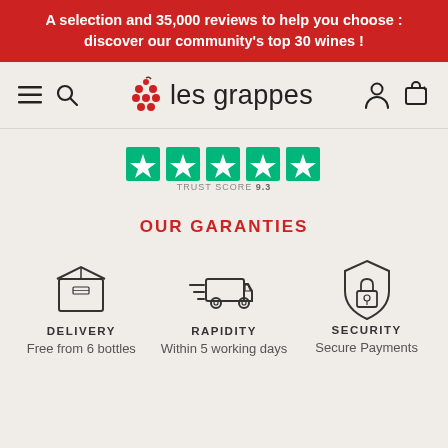A selection and 35,000 reviews to help you choose : discover our community's top 30 wines !
[Figure (logo): Les Grappes logo with grape icon and brand name]
[Figure (other): Trustpilot stars rating widget showing 5 green stars with TRUST SCORE 9.3]
OUR GARANTIES
[Figure (infographic): Three guarantee icons: delivery box, fast delivery truck, and security shield with lock]
DELIVERY
Free from 6 bottles
RAPIDITY
Within 5 working days
SECURITY
Secure Payments